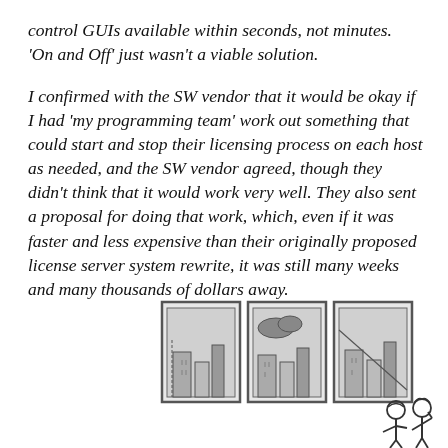control GUIs available within seconds, not minutes. 'On and Off' just wasn't a viable solution.
I confirmed with the SW vendor that it would be okay if I had 'my programming team' work out something that could start and stop their licensing process on each host as needed, and the SW vendor agreed, though they didn't think that it would work very well. They also sent a proposal for doing that work, which, even if it was faster and less expensive than their originally proposed license server system rewrite, it was still many weeks and many thousands of dollars away.
[Figure (illustration): A cartoon illustration showing three panels/windows depicting buildings/cityscapes, and two figures (people) on the right side, appearing to look at the panels.]